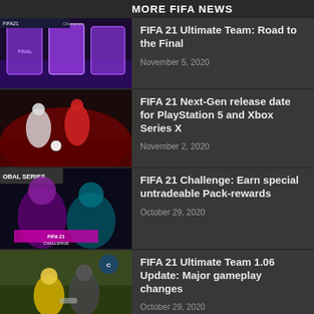MORE FIFA NEWS
FIFA 21 Ultimate Team: Road to the Final
November 5, 2020
FIFA 21 Next-Gen release date for PlayStation 5 and Xbox Series X
November 2, 2020
FIFA 21 Challenge: Earn special untradeable Pack-rewards
October 29, 2020
FIFA 21 Ultimate Team 1.06 Update: Major gameplay changes
October 29, 2020
New special items in FIFA 21 Ultimate T...